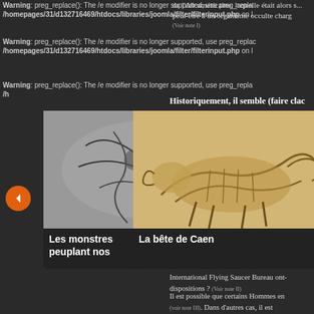Warning: preg_replace(): The /e modifier is no longer supported, use preg_replace_e... /homepages/31/d132716469/htdocs/libraries/joomla/filter/filterinput.php on l...
peut-être à un organisme occulte charg...
Warning: preg_replace(): The /e modifier is no longer supported, use preg_replace... /homepages/31/d132716469/htdocs/libraries/joomla/filter/filterinput.php...
Warning: preg_replace(): The /e modifier is no longer supported, use preg_replace... /h... 169/... hhtt...
Historiquement, il semble (faire clac...
[Figure (illustration): Black and white illustration of mythological creatures/monsters]
[Figure (illustration): Sepia/beige drawing of a large animal creature (beast of Caen)]
[Figure (illustration): Black and white historical engraving of the Great Fire of London 1666]
Les monstres peuplant nos
La bête de Caen
Le grand incendie de Londres - 1666
International Flying Saucer Bureau ont-... dispositions ? (Voir note II)
Il est possible que certains Hommes en... (voir note III). Dans d'autres cas, il est... d'officiers de l'U.S. Air Force attachés... plume d'un journaliste ou d'un auteur e... Enfin, il n'est pas exclu que certains H...